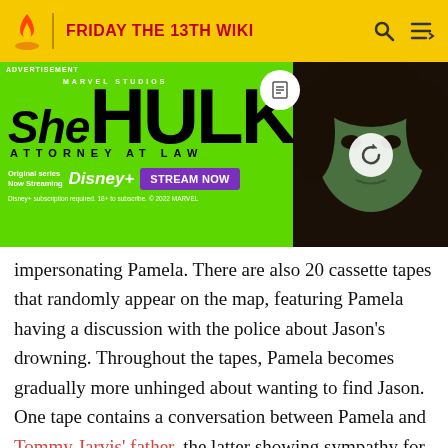FRIDAY THE 13TH WIKI
[Figure (photo): She-Hulk: Attorney at Law advertisement banner with green background, Marvel Studios logo, She-Hulk logo, Disney+ streaming info, Stream Now button, and a photo of the character on the right side]
impersonating Pamela. There are also 20 cassette tapes that randomly appear on the map, featuring Pamela having a discussion with the police about Jason's drowning. Throughout the tapes, Pamela becomes gradually more unhinged about wanting to find Jason. One tape contains a conversation between Pamela and Tommy Jarvis' father, the latter showing sympathy for the former's loss. These tapes also reveal that Pamela was impregnated with Jason when she was raped by an